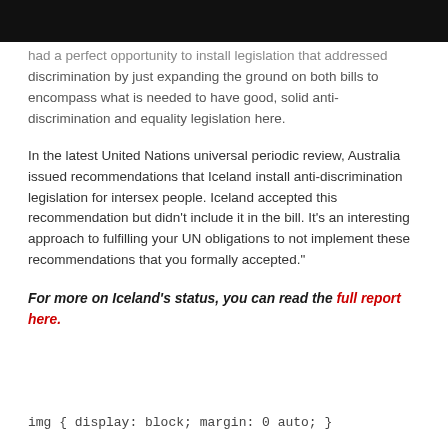had a perfect opportunity to install legislation that addressed discrimination by just expanding the ground on both bills to encompass what is needed to have good, solid anti-discrimination and equality legislation here.
In the latest United Nations universal periodic review, Australia issued recommendations that Iceland install anti-discrimination legislation for intersex people. Iceland accepted this recommendation but didn't include it in the bill. It's an interesting approach to fulfilling your UN obligations to not implement these recommendations that you formally accepted."
For more on Iceland's status, you can read the full report here.
img { display: block; margin: 0 auto; }